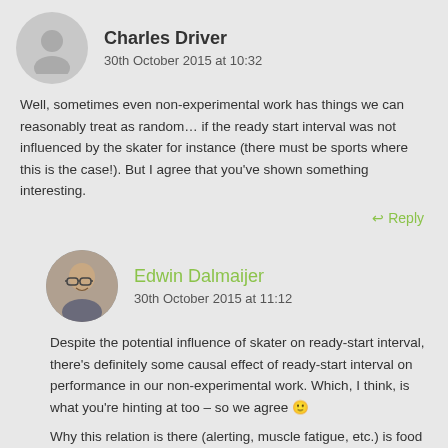[Figure (illustration): Grey circular avatar placeholder with silhouette icon for Charles Driver]
Charles Driver
30th October 2015 at 10:32
Well, sometimes even non-experimental work has things we can reasonably treat as random… if the ready start interval was not influenced by the skater for instance (there must be sports where this is the case!). But I agree that you've shown something interesting.
↩ Reply
[Figure (photo): Circular profile photo of Edwin Dalmaijer, a man with glasses]
Edwin Dalmaijer
30th October 2015 at 11:12
Despite the potential influence of skater on ready-start interval, there's definitely some causal effect of ready-start interval on performance in our non-experimental work. Which, I think, is what you're hinting at too – so we agree 🙂
Why this relation is there (alerting, muscle fatigue, etc.) is food for further experimental investigation.